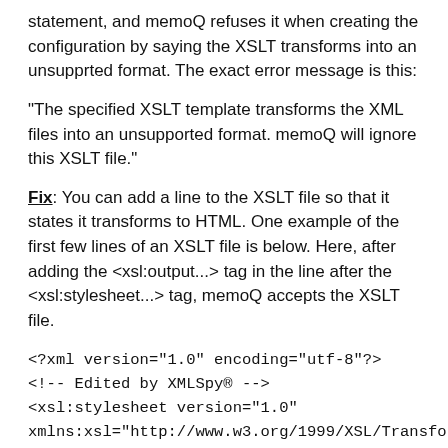statement, and memoQ refuses it when creating the configuration by saying the XSLT transforms into an unsupprted format. The exact error message is this:
"The specified XSLT template transforms the XML files into an unsupported format. memoQ will ignore this XSLT file."
Fix: You can add a line to the XSLT file so that it states it transforms to HTML. One example of the first few lines of an XSLT file is below. Here, after adding the <xsl:output...> tag in the line after the <xsl:stylesheet...> tag, memoQ accepts the XSLT file.
<?xml version="1.0" encoding="utf-8"?>
<!-- Edited by XMLSpy® -->
<xsl:stylesheet version="1.0"
xmlns:xsl="http://www.w3.org/1999/XSL/Transform">
<xsl:output method="html" />
<xsl:template match="/">